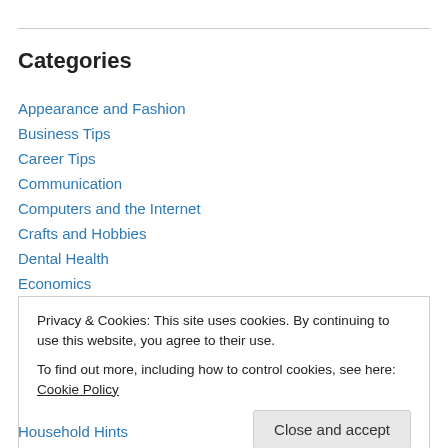Categories
Appearance and Fashion
Business Tips
Career Tips
Communication
Computers and the Internet
Crafts and Hobbies
Dental Health
Economics
Education
Privacy & Cookies: This site uses cookies. By continuing to use this website, you agree to their use. To find out more, including how to control cookies, see here: Cookie Policy
Household Hints